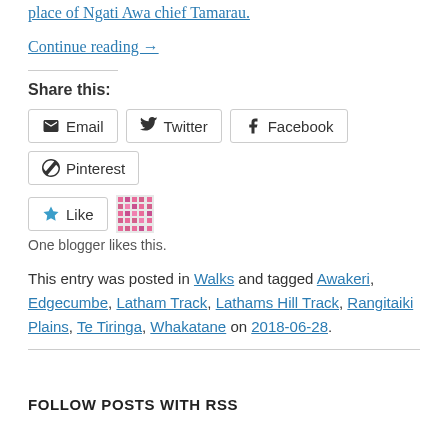place of Ngati Awa chief Tamarau.
Continue reading →
Share this:
Email  Twitter  Facebook  Pinterest
[Figure (other): Like button with star icon and WordPress avatar mosaic image]
One blogger likes this.
This entry was posted in Walks and tagged Awakeri, Edgecumbe, Latham Track, Lathams Hill Track, Rangitaiki Plains, Te Tiringa, Whakatane on 2018-06-28.
FOLLOW POSTS WITH RSS